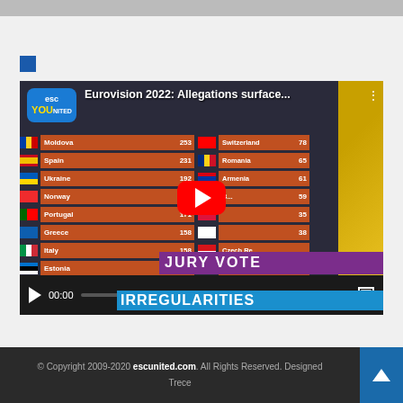[Figure (screenshot): YouTube video embed showing Eurovision 2022 jury vote irregularities video. Title: 'Eurovision 2022: Allegations surface...', duration 06:44. Scoreboard visible showing Moldova 253, Spain 231, Ukraine 192, Norway 182, Portugal 171, Greece 158, Italy 158, Estonia 141, Netherlands 129, 128; Switzerland 78, Romania 65, Armenia 61, Belgium 59, Poland 35, Finland 38, Czech Rep., Iceland. Overlay text 'JURY VOTE IRREGULARITIES'.]
© Copyright 2009-2020 escunited.com. All Rights Reserved. Designed Trece